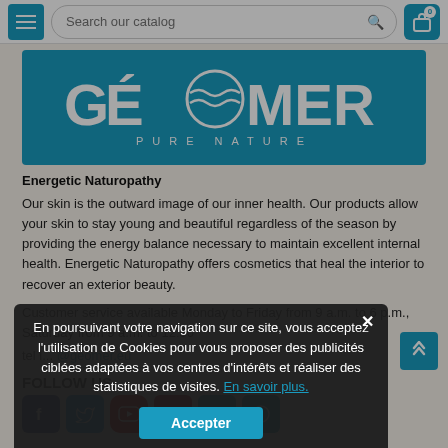Navigation bar with hamburger menu, search catalog input, and cart button (0 items)
[Figure (logo): GÉOMER PURE NATURE logo — white text on teal/blue background]
Energetic Naturopathy
Our skin is the outward image of our inner health. Our products allow your skin to stay young and beautiful regardless of the season by providing the energy balance necessary to maintain excellent internal health. Energetic Naturopathy offers cosmetics that heal the interior to recover an exterior beauty.
Customer service available Monday to Friday from 9 a.m. to 6 p.m., Saturday from 9 a.m. to 12:30
tel l... @geomer.eu
[Figure (other): Cookie consent modal overlay: 'En poursuivant votre navigation sur ce site, vous acceptez l'utilisation de Cookies pour vous proposer des publicités ciblées adaptées à vos centres d'intérêts et réaliser des statistiques de visites. En savoir plus.' with Accepter button]
FOLLOW US
[Figure (other): Social media icon buttons: Facebook, Twitter, YouTube, Pinterest, Google+, and info icon]